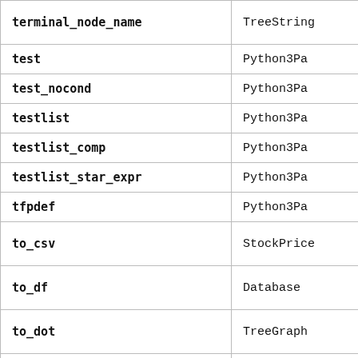| Name | Type |
| --- | --- |
| terminal_node_name | TreeString |
| test | Python3Pa |
| test_nocond | Python3Pa |
| testlist | Python3Pa |
| testlist_comp | Python3Pa |
| testlist_star_expr | Python3Pa |
| tfpdef | Python3Pa |
| to_csv | StockPrice |
| to_df | Database |
| to_dot | TreeGraph |
| to_excel | StockPrice |
| to_networkx | TreeGraph |
| to_python | TreeString |